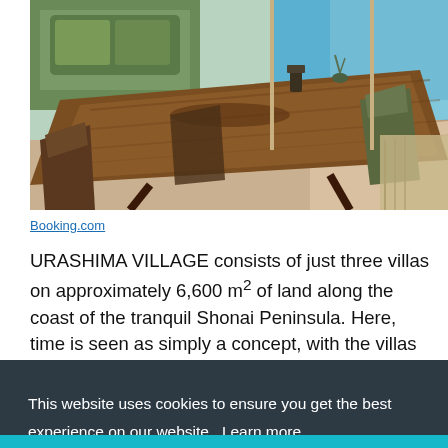[Figure (photo): Interior photo of a dining area with a dark wooden table and chairs, green sofa visible in background upper left, water view through large glass windows/doors on the right, wooden deck visible outside. Image from Booking.com.]
Booking.com
URASHIMA VILLAGE consists of just three villas on approximately 6,600 m² of land along the coast of the tranquil Shonai Peninsula. Here, time is seen as simply a concept, with the villas instead running on nature's time. The above image shows the "silence" villa, which [partially obscured by cookie banner] ...their [partially obscured] ...much
This website uses cookies to ensure you get the best experience on our website. Learn more
Got it!